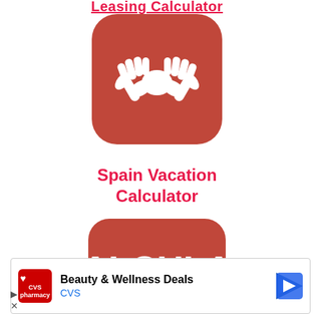Leasing Calculator
[Figure (illustration): Red rounded-square app icon with white handshake icon in the center]
Spain Vacation Calculator
[Figure (illustration): Red rounded-square app icon with white bold text 'CALCULAR' in the center]
[Figure (screenshot): Advertisement banner for CVS pharmacy showing 'Beauty & Wellness Deals' with CVS logo and navigation arrow icon]